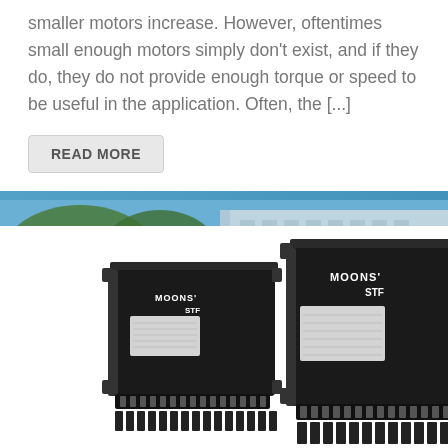smaller motors increase. However, oftentimes small enough motors simply don't exist, and if they do, they do not provide enough torque or speed to be useful in the application. Often, the [...]
READ MORE
[Figure (photo): Two MOONS' STF stepper motor driver/controller units, black rectangular devices with connector ports and labeling, shown against a background of a building and blue sky with trees.]